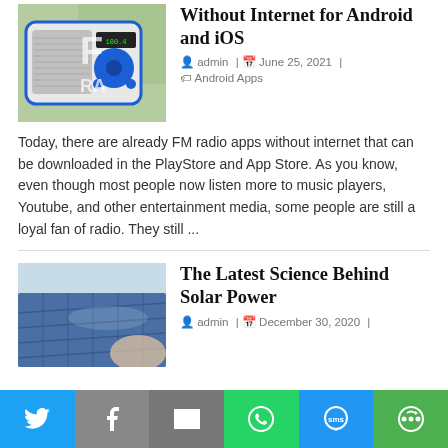[Figure (photo): Blue and white FM radio device on a table near a window]
7 Best FM Radio Apps Without Internet for Android and iOS
admin | June 25, 2021 | Android Apps
Today, there are already FM radio apps without internet that can be downloaded in the PlayStore and App Store. As you know, even though most people now listen more to music players, Youtube, and other entertainment media, some people are still a loyal fan of radio. They still ...
[Figure (photo): Solar panels on a roof or surface]
The Latest Science Behind Solar Power
admin | December 30, 2020 |